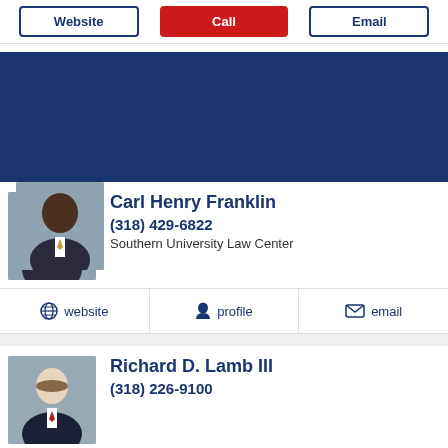Website | Call | Email
[Figure (illustration): Dark blue banner/advertisement placeholder]
[Figure (photo): Headshot of Carl Henry Franklin, an attorney, wearing a suit]
Carl Henry Franklin
(318) 429-6822
Southern University Law Center
website   profile   email
[Figure (photo): Headshot of Richard D. Lamb III, an attorney, wearing a suit]
Richard D. Lamb III
(318) 226-9100